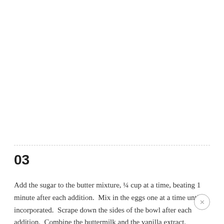03
Add the sugar to the butter mixture, ¼ cup at a time, beating 1 minute after each addition.  Mix in the eggs one at a time until incorporated.  Scrape down the sides of the bowl after each addition.  Combine the buttermilk and the vanilla extract.